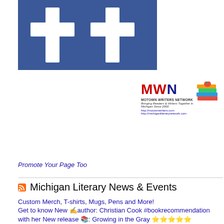[Figure (logo): Facebook banner with two white cross/plus shapes on blue background]
[Figure (logo): Motown Writers Network (MWN) logo with red MWN text, stack of books, subtitle text and URLs]
Promote Your Page Too
Michigan Literary News & Events
Custom Merch, T-shirts, Mugs, Pens and More!
Get to know New ✍author: Christian Cook #bookrecommendation with her New release 📚: Growing in the Gray ⭐⭐⭐⭐⭐
#MotownWriters Sunday Spotlight New ✍author: Christian Cook with her New release 📚: Growing in the Gray ⭐⭐⭐⭐⭐ #bookrecommendation #michlit
Integrity Art Fairs - Author Tables now available!
SAVEtheDATE: May14th 10am #motownwriters @meetup wsg @ogaines 📚✍💜📝 TOPIC: Journaling Your Writing Life. #amwriting 📚✍💜📝